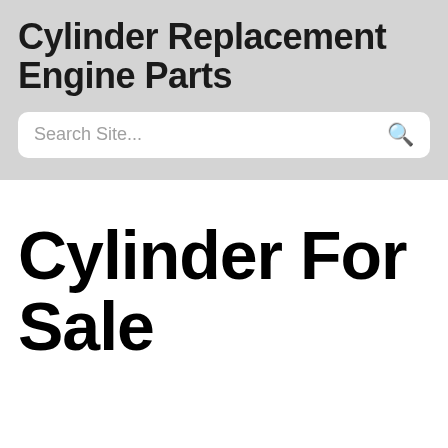Cylinder Replacement Engine Parts
Search Site...
Cylinder For Sale